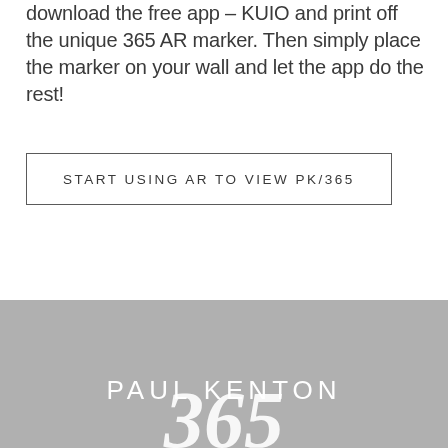download the free app – KUIO and print off the unique 365 AR marker. Then simply place the marker on your wall and let the app do the rest!
START USING AR TO VIEW PK/365
PAUL KENTON
365